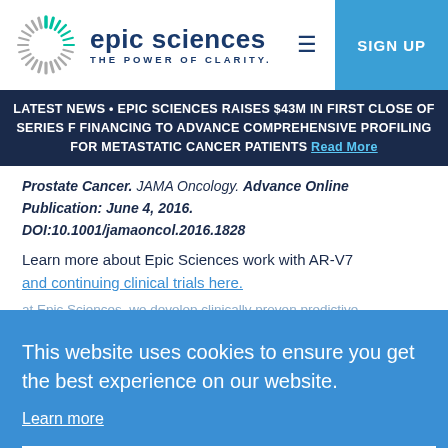[Figure (logo): Epic Sciences logo with sunburst icon and tagline THE POWER OF CLARITY.]
SIGN UP
LATEST NEWS • EPIC SCIENCES RAISES $43M IN FIRST CLOSE OF SERIES F FINANCING TO ADVANCE COMPREHENSIVE PROFILING FOR METASTATIC CANCER PATIENTS Read More
Prostate Cancer. JAMA Oncology. Advance Online Publication: June 4, 2016. DOI:10.1001/jamaoncol.2016.1828
Learn more about Epic Sciences work with AR-V7 and continuing clinical trials here.
This website uses cookies to ensure you get the best experience on our website.
Learn more
Got it!
at Epic Sciences, we develop clinically proven predictive tests to detect and monitor cancer at the individual cell level. With a proprietary rare cell detection engine, we provide insights to clinical, biotech, pharmaceutical and academic teams on how cancer emerges, mutates and remits so they can make pivotal decisions at every point in patient